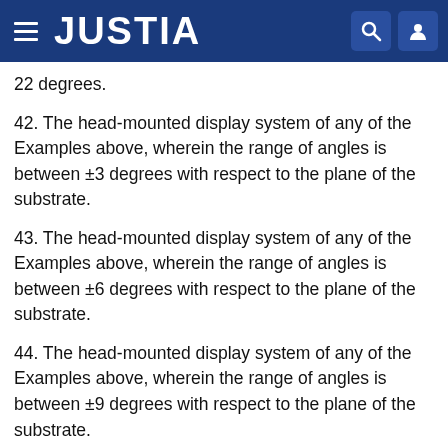JUSTIA
22 degrees.
42. The head-mounted display system of any of the Examples above, wherein the range of angles is between ±3 degrees with respect to the plane of the substrate.
43. The head-mounted display system of any of the Examples above, wherein the range of angles is between ±6 degrees with respect to the plane of the substrate.
44. The head-mounted display system of any of the Examples above, wherein the range of angles is between ±9 degrees with respect to the plane of the substrate.
45. The head-mounted display system of any of the Examples above, wherein the range of angles is between ±11 degrees with respect to the plane of the substrate.